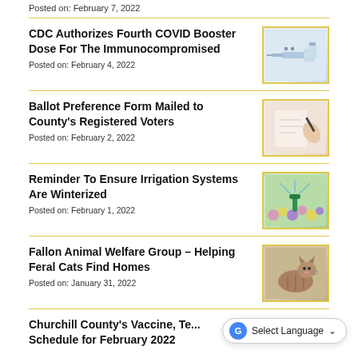Posted on: February 7, 2022
CDC Authorizes Fourth COVID Booster Dose For The Immunocompromised
Posted on: February 4, 2022
[Figure (photo): Photo of vaccine vials and syringe on light background]
Ballot Preference Form Mailed to County's Registered Voters
Posted on: February 2, 2022
[Figure (photo): Photo of a hand writing with a pen on paper]
Reminder To Ensure Irrigation Systems Are Winterized
Posted on: February 1, 2022
[Figure (photo): Photo of a garden sprinkler among colorful flowers]
Fallon Animal Welfare Group – Helping Feral Cats Find Homes
Posted on: January 31, 2022
[Figure (photo): Photo of a tabby cat lying down indoors]
Churchill County's Vaccine, Testing Schedule for February 2022